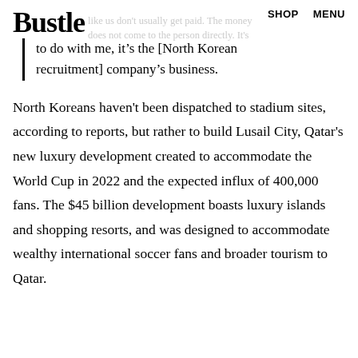Bustle   SHOP   MENU
to do with me, it’s the [North Korean recruitment] company’s business.
North Koreans haven't been dispatched to stadium sites, according to reports, but rather to build Lusail City, Qatar's new luxury development created to accommodate the World Cup in 2022 and the expected influx of 400,000 fans. The $45 billion development boasts luxury islands and shopping resorts, and was designed to accommodate wealthy international soccer fans and broader tourism to Qatar.